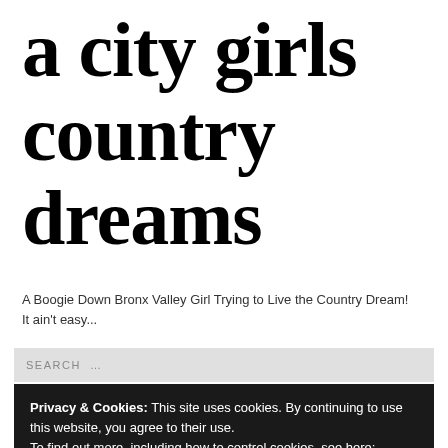a city girls country dreams
A Boogie Down Bronx Valley Girl Trying to Live the Country Dream! It ain't easy...
SEARCH …
Privacy & Cookies: This site uses cookies. By continuing to use this website, you agree to their use.
To find out more, including how to control cookies, see here: WordPress Cookie Policy
Fine... now take me to the site